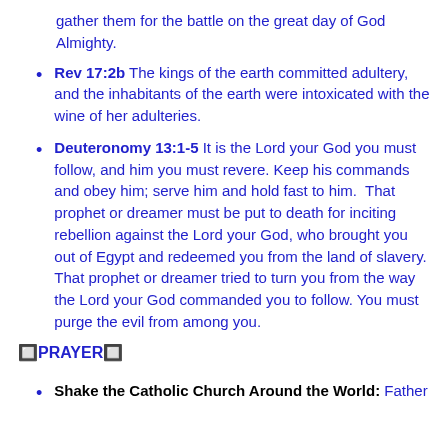gather them for the battle on the great day of God Almighty.
Rev 17:2b The kings of the earth committed adultery, and the inhabitants of the earth were intoxicated with the wine of her adulteries.
Deuteronomy 13:1-5 It is the Lord your God you must follow, and him you must revere. Keep his commands and obey him; serve him and hold fast to him. That prophet or dreamer must be put to death for inciting rebellion against the Lord your God, who brought you out of Egypt and redeemed you from the land of slavery. That prophet or dreamer tried to turn you from the way the Lord your God commanded you to follow. You must purge the evil from among you.
🔲PRAYER🔲
Shake the Catholic Church Around the World: Father